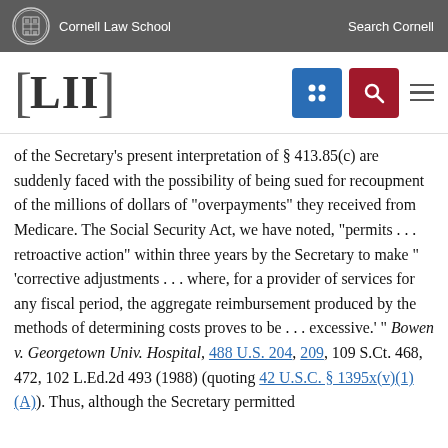Cornell Law School  Search Cornell
[Figure (logo): LII Cornell Law School logo with navigation icons (grid icon in blue, search icon in red, hamburger menu)]
of the Secretary's present interpretation of § 413.85(c) are suddenly faced with the possibility of being sued for recoupment of the millions of dollars of "overpayments" they received from Medicare. The Social Security Act, we have noted, "permits . . . retroactive action" within three years by the Secretary to make " 'corrective adjustments . . . where, for a provider of services for any fiscal period, the aggregate reimbursement produced by the methods of determining costs proves to be . . . excessive.' " Bowen v. Georgetown Univ. Hospital, 488 U.S. 204, 209, 109 S.Ct. 468, 472, 102 L.Ed.2d 493 (1988) (quoting 42 U.S.C. § 1395x(v)(1)(A)). Thus, although the Secretary permitted